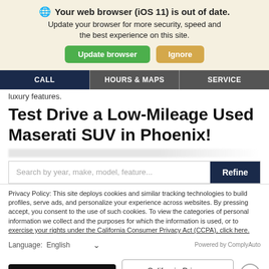🌐 Your web browser (iOS 11) is out of date. Update your browser for more security, speed and the best experience on this site.
Update browser | Ignore
CALL | HOURS & MAPS | SERVICE
luxury features.
Test Drive a Low-Mileage Used Maserati SUV in Phoenix!
Search by year, make, model, feature... Refine
Privacy Policy: This site deploys cookies and similar tracking technologies to build profiles, serve ads, and personalize your experience across websites. By pressing accept, you consent to the use of such cookies. To view the categories of personal information we collect and the purposes for which the information is used, or to exercise your rights under the California Consumer Privacy Act (CCPA), click here.
Language: English ∨ Powered by ComplyAuto
Accept and Continue → | California Privacy Disclosures | ×